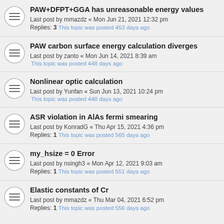PAW+DFPT+GGA has unreasonable energy values
Last post by mmazdz « Mon Jun 21, 2021 12:32 pm
Replies: 3 This topic was posted 453 days ago
PAW carbon surface energy calculation diverges
Last post by zanto « Mon Jun 14, 2021 8:39 am
This topic was posted 448 days ago
Nonlinear optic calculation
Last post by Yunfan « Sun Jun 13, 2021 10:24 pm
This topic was posted 448 days ago
ASR violation in AlAs fermi smearing
Last post by KonradG « Thu Apr 15, 2021 4:36 pm
Replies: 1 This topic was posted 565 days ago
my_hsize = 0 Error
Last post by nsingh3 « Mon Apr 12, 2021 9:03 am
Replies: 1 This topic was posted 551 days ago
Elastic constants of Cr
Last post by mmazdz « Thu Mar 04, 2021 6:52 pm
Replies: 1 This topic was posted 556 days ago